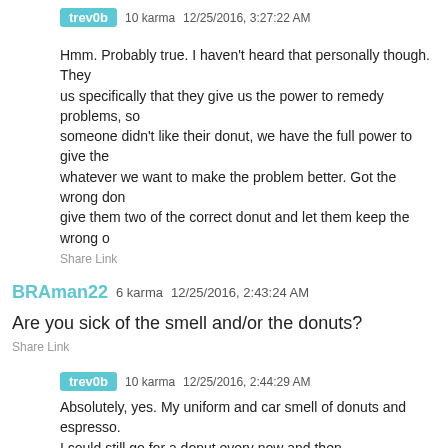trev0b  10 karma  12/25/2016, 3:27:22 AM
Hmm. Probably true. I haven't heard that personally though. They us specifically that they give us the power to remedy problems, so someone didn't like their donut, we have the full power to give the whatever we want to make the problem better. Got the wrong don give them two of the correct donut and let them keep the wrong o
Share Link
BRAman22  6 karma  12/25/2016, 2:43:24 AM
Are you sick of the smell and/or the donuts?
Share Link
trev0b  10 karma  12/25/2016, 2:44:29 AM
Absolutely, yes. My uniform and car smell of donuts and espresso. I could still go for a donut every now and then.
Share Link
BRAman22  3 karma  12/25/2016, 2:52:47 AM
Bummer that something so damn good is ruined.
Share Link
trev0b  5 karma  12/25/2016, 2:54:56 AM